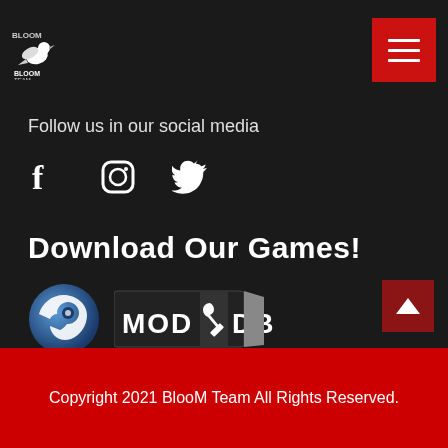Bloom Team logo and navigation menu
Follow us in our social media
[Figure (illustration): Social media icons: Facebook (f), Instagram (circle camera), Twitter (bird)]
Download Our Games!
[Figure (logo): Steam logo (blue circle with steam symbol) and ModDB logo (styled text with tool icon)]
Copyright 2021 BlooM Team All Rights Reserved.